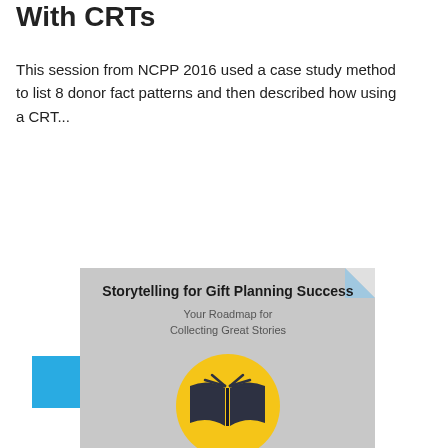With CRTs
This session from NCPP 2016 used a case study method to list 8 donor fact patterns and then described how using a CRT...
View
[Figure (illustration): Book cover for 'Storytelling for Gift Planning Success: Your Roadmap for Collecting Great Stories' with a yellow circle and dark open book icon on gray background]